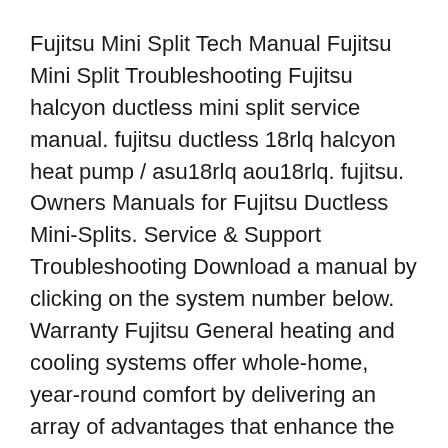Fujitsu Mini Split Tech Manual Fujitsu Mini Split Troubleshooting Fujitsu halcyon ductless mini split service manual. fujitsu ductless 18rlq halcyon heat pump / asu18rlq aou18rlq. fujitsu. Owners Manuals for Fujitsu Ductless Mini-Splits. Service & Support Troubleshooting Download a manual by clicking on the system number below. Warranty Fujitsu General heating and cooling systems offer whole-home, year-round comfort by delivering an array of advantages that enhance the quality of life for each member of your family. Air Conditioners and Heat Pumps
04/09/2014B B· Category Education; Song Preludes, Book 1: No. 8. La fille aux cheveux de lin (The Girl with the Flaxen Hair) (arr. R. Stoltzman)